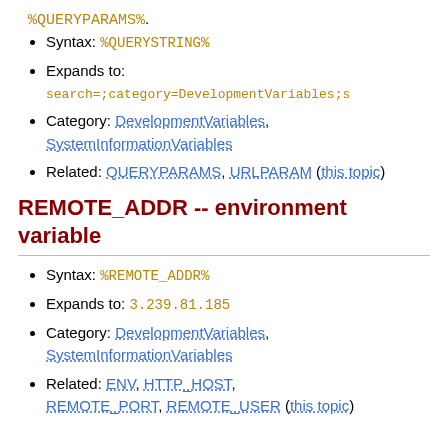%QUERYPARAMS%.
Syntax: %QUERYSTRING%
Expands to: search=;category=DevelopmentVariables;s
Category: DevelopmentVariables, SystemInformationVariables
Related: QUERYPARAMS, URLPARAM (this topic)
REMOTE_ADDR -- environment variable
Syntax: %REMOTE_ADDR%
Expands to: 3.239.81.185
Category: DevelopmentVariables, SystemInformationVariables
Related: ENV, HTTP_HOST, REMOTE_PORT, REMOTE_USER (this topic)